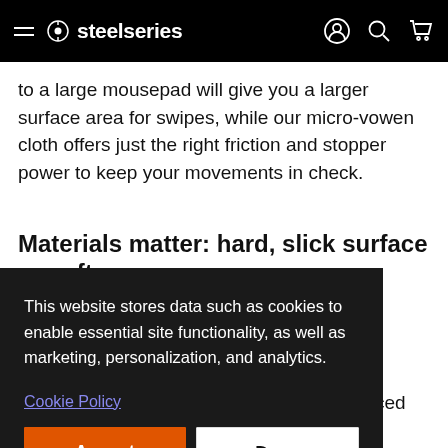steelseries
to a large mousepad will give you a larger surface area for swipes, while our micro-vowen cloth offers just the right friction and stopper power to keep your movements in check.
Materials matter: hard, slick surface or soft,
This website stores data such as cookies to enable essential site functionality, as well as marketing, personalization, and analytics.
Cookie Policy
Accept
Deny
u speed ousepad is ur fellow
e the best For d with a h low and high CPI tracking movements using enhanced texture